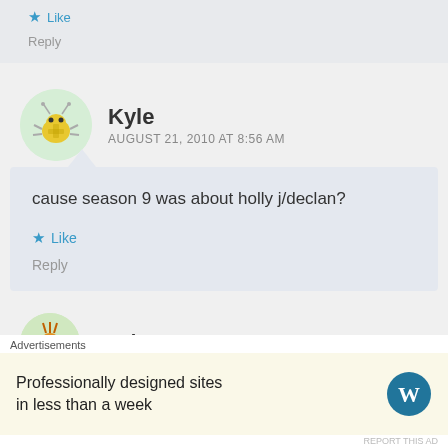Like
Reply
Kyle
AUGUST 21, 2010 AT 8:56 AM
cause season 9 was about holly j/declan?
Like
Reply
Hayley Masters
Advertisements
Professionally designed sites in less than a week